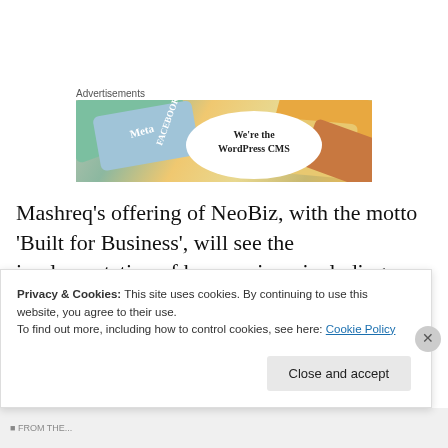Advertisements
[Figure (illustration): Advertisement banner showing social media logos (Meta, Facebook) and colorful cards with text 'We're the WordPress CMS']
Mashreq's offering of NeoBiz, with the motto 'Built for Business', will see the implementation of key services, including digital onboarding, transparent and simplified products, digital assistant and full transaction capability
Privacy & Cookies: This site uses cookies. By continuing to use this website, you agree to their use.
To find out more, including how to control cookies, see here: Cookie Policy
Close and accept